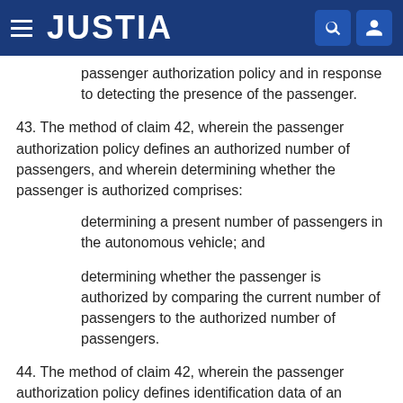JUSTIA
passenger authorization policy and in response to detecting the presence of the passenger.
43. The method of claim 42, wherein the passenger authorization policy defines an authorized number of passengers, and wherein determining whether the passenger is authorized comprises:
determining a present number of passengers in the autonomous vehicle; and
determining whether the passenger is authorized by comparing the current number of passengers to the authorized number of passengers.
44. The method of claim 42, wherein the passenger authorization policy defines identification data of an authorized passenger, and wherein determining